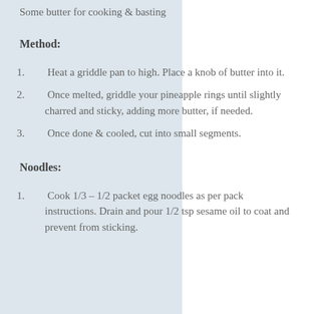Some butter for cooking & basting
Method:
1. Heat a griddle pan to high. Place a knob of butter into it.
2. Once melted, griddle your pineapple rings until slightly charred and sticky, adding more butter, if needed.
3. Once done & cooled, cut into small segments.
Noodles:
1. Cook 1/3 – 1/2 packet egg noodles as per pack instructions. Drain and pour 1/2 tsp sesame oil to coat and prevent from sticking.